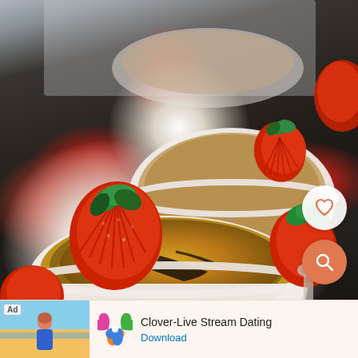[Figure (photo): Food photography showing two white ceramic ramekins with crème brûlée topped with caramelized sugar crust, garnished with fan-cut strawberries, on a dark slate background. A white circular button with a coral heart icon and another coral circle with a magnifying glass search icon are overlaid on the right side of the image.]
[Figure (infographic): Advertisement banner at the bottom of the page. Left side shows a beach photo of a woman with 'Ad' label. Center shows the Clover app logo (four colored hearts/petals). Right shows text 'Clover-Live Stream Dating' with a 'Download' link in blue.]